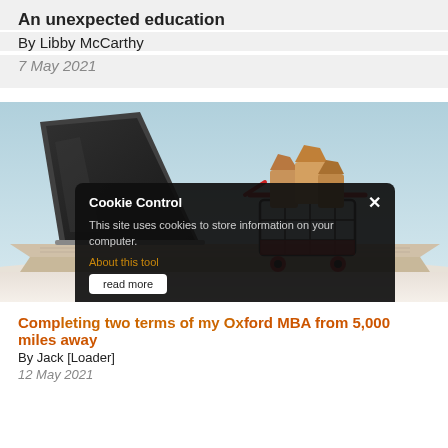An unexpected education
By Libby McCarthy
7 May 2021
[Figure (photo): A miniature shopping cart filled with brown paper packages sitting on top of a laptop computer keyboard, against a light blue background.]
Cookie Control
This site uses cookies to store information on your computer.
About this tool
read more
Completing two terms of my Oxford MBA from 5,000 miles away
By Jack [Loader]
12 May 2021